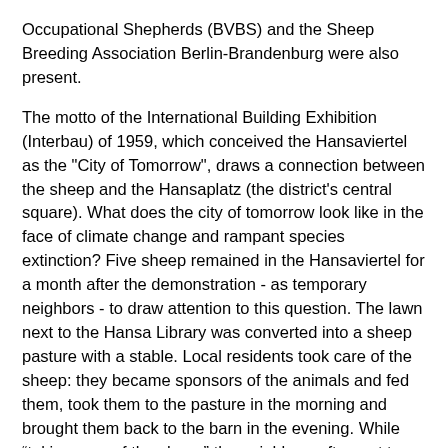Occupational Shepherds (BVBS) and the Sheep Breeding Association Berlin-Brandenburg were also present.
The motto of the International Building Exhibition (Interbau) of 1959, which conceived the Hansaviertel as the "City of Tomorrow", draws a connection between the sheep and the Hansaplatz (the district's central square). What does the city of tomorrow look like in the face of climate change and rampant species extinction? Five sheep remained in the Hansaviertel for a month after the demonstration - as temporary neighbors - to draw attention to this question. The lawn next to the Hansa Library was converted into a sheep pasture with a stable. Local residents took care of the sheep: they became sponsors of the animals and fed them, took them to the pasture in the morning and brought them back to the barn in the evening. While “taking care of the sheep” the neighbors often got to know each other for the first time, or connected on another level. The idea of the "social green" - a core idea of the Interbau - was revived in this manner, as the green space was turned into a place of social interaction. In addition to the 200 sheep, Folke Köbberling also brought along 400 kilograms of their raw wool that had been shorn in the spring. The stable was clad with wool - and therefore turned into a seemingly archaic, sculptural contrast to the modernist rigor of the